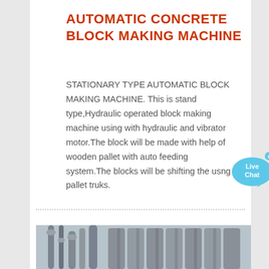AUTOMATIC CONCRETE BLOCK MAKING MACHINE
STATIONARY TYPE AUTOMATIC BLOCK MAKING MACHINE. This is stand type,Hydraulic operated block making machine using with hydraulic and vibrator motor.The block will be made with help of wooden pallet with auto feeding system.The blocks will be shifting the usng pallet truks.
[Figure (photo): Industrial machinery — pipes and cylindrical metal silos/columns, photograph of concrete block making machine components]
[Figure (illustration): Live Chat widget — blue speech bubble with 'Live Chat' text and close button]